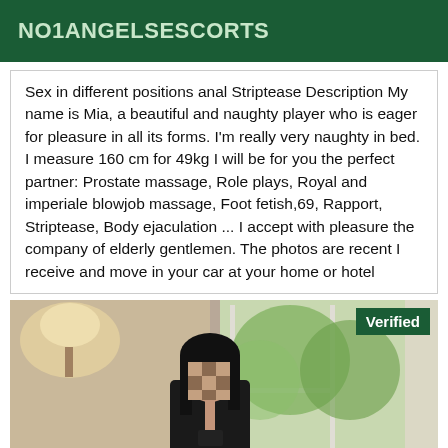NO1ANGELSESCORTS
Sex in different positions anal Striptease Description My name is Mia, a beautiful and naughty player who is eager for pleasure in all its forms. I'm really very naughty in bed. I measure 160 cm for 49kg I will be for you the perfect partner: Prostate massage, Role plays, Royal and imperiale blowjob massage, Foot fetish,69, Rapport, Striptease, Body ejaculation ... I accept with pleasure the company of elderly gentlemen. The photos are recent I receive and move in your car at your home or hotel
[Figure (photo): Photo of a woman with pixelated face taking a mirror selfie in a room with a lamp and window showing greenery outside. A 'Verified' badge appears in the top-right corner.]